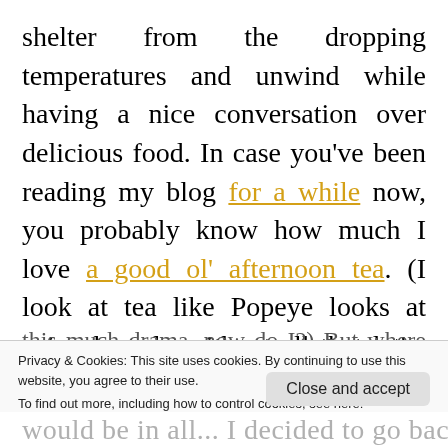shelter from the dropping temperatures and unwind while having a nice conversation over delicious food. In case you've been reading my blog for a while now, you probably know how much I love a good ol' afternoon tea. (I look at tea like Popeye looks at spinach, only without all that let's-save-Olive mumbo jumbo. Sorry Olive but you're kind of needy, and I have no time for
Privacy & Cookies: This site uses cookies. By continuing to use this website, you agree to their use. To find out more, including how to control cookies, see here: Cookie Policy